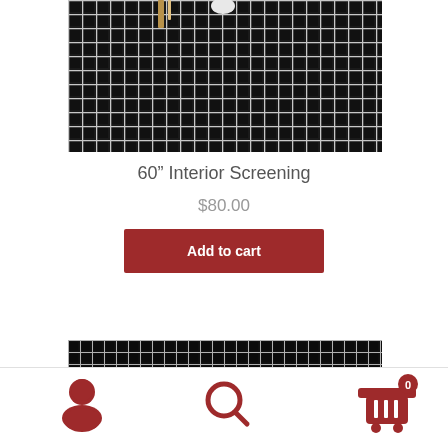[Figure (photo): Close-up photo of white/black grid mesh screening material with a wooden stick visible at the top edge]
60” Interior Screening
$80.00
Add to cart
[Figure (photo): Partial close-up of another mesh screening product at the bottom of the page]
[Figure (infographic): Bottom navigation bar with user account icon, search icon, and shopping cart icon with badge showing 0]